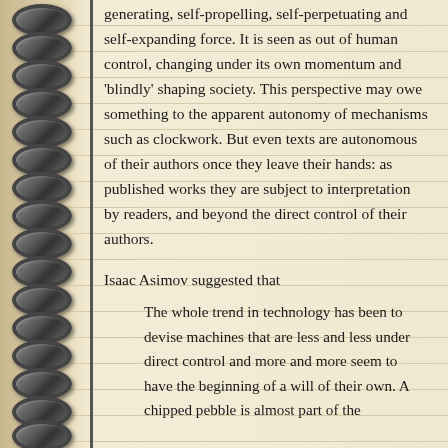generating, self-propelling, self-perpetuating and self-expanding force. It is seen as out of human control, changing under its own momentum and 'blindly' shaping society. This perspective may owe something to the apparent autonomy of mechanisms such as clockwork. But even texts are autonomous of their authors once they leave their hands: as published works they are subject to interpretation by readers, and beyond the direct control of their authors.
Isaac Asimov suggested that
The whole trend in technology has been to devise machines that are less and less under direct control and more and more seem to have the beginning of a will of their own. A chipped pebble is almost part of the